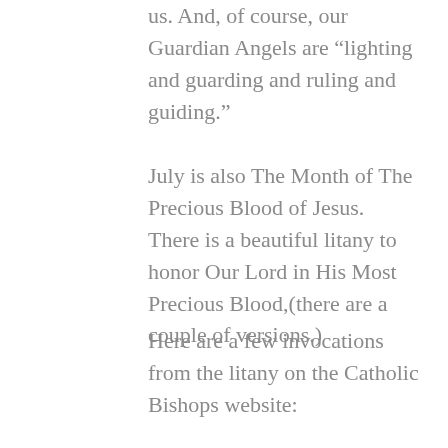us. And, of course, our Guardian Angels are “lighting and guarding and ruling and guiding.”
July is also The Month of The Precious Blood of Jesus. There is a beautiful litany to honor Our Lord in His Most Precious Blood,(there are a couple of versions.)
Here are a few invocations from the litany on the Catholic Bishops website:
Blood of Christ, only Son of the Father, be our salvation.
Blood of Christ, that spilled to the ground, be our salvation.